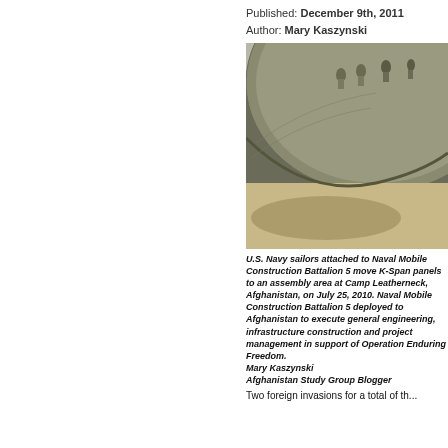Published: December 9th, 2011
Author: Mary Kaszynski
[Figure (photo): U.S. Navy sailors moving K-span sections at an assembly area at Camp Leatherneck, Afghanistan, on July 25, 2010.]
U.S. Navy sailors attached to Naval Mobile Construction Battalion 5 move K-Span panels to an assembly area at Camp Leatherneck, Afghanistan, on July 25, 2010. Naval Mobile Construction Battalion 5 deployed to Afghanistan to execute general engineering, infrastructure construction and project management in support of Operation Enduring Freedom. Mary Kaszynski Afghanistan Study Group Blogger
Two foreign invasions for a total of th...